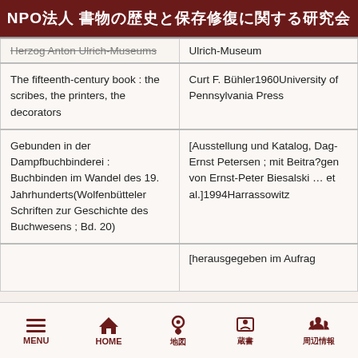NPO法人 書物の歴史と保存修復に関する研究会
| Title | Publisher/Author |
| --- | --- |
| Herzog Anton Ulrich-Museums | Ulrich-Museum |
| The fifteenth-century book : the scribes, the printers, the decorators | Curt F. Bühler1960University of Pennsylvania Press |
| Gebunden in der Dampfbuchbinderei : Buchbinden im Wandel des 19. Jahrhunderts(Wolfenbütteler Schriften zur Geschichte des Buchwesens ; Bd. 20) | [Ausstellung und Katalog, Dag-Ernst Petersen ; mit Beitra?gen von Ernst-Peter Biesalski … et al.]1994Harrassowitz |
|  | [herausgegeben im Aufrag |
MENU | HOME | 地図 | 蔵書 | 周辺情報